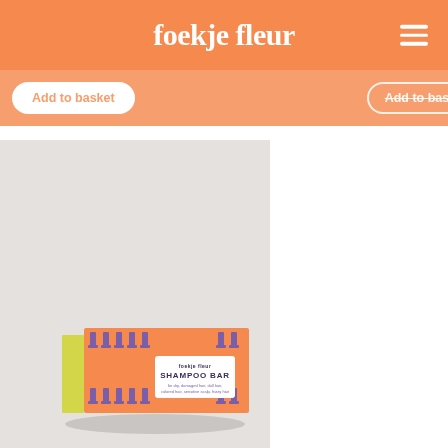foekje fleur
Add to basket
Add to basket
[Figure (photo): Orange and purple patterned shampoo bar box with yellow spine, labeled SHAMPOO BAR, displayed on a light grey background.]